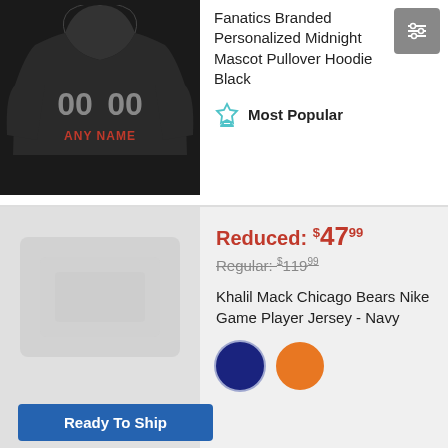[Figure (photo): Black hoodie with number 00 and 'ANY NAME' text on the front, displayed on a dark background]
Fanatics Branded Personalized Midnight Mascot Pullover Hoodie Black
Most Popular
[Figure (photo): Blurred/obscured product image on light gray background]
Reduced: $47.99
Regular: $119.99
Khalil Mack Chicago Bears Nike Game Player Jersey - Navy
[Figure (other): Two color swatches: navy blue and orange]
Ready To Ship